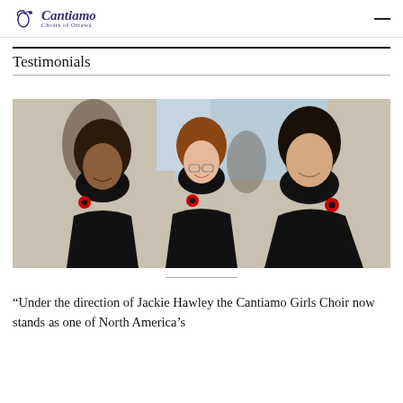Cantiamo Choirs of Ottawa
Testimonials
[Figure (photo): Three young girls in black Cantiamo choir uniforms with red poppy pins, smiling at the camera in what appears to be an indoor event venue with other choir members visible in the background.]
“Under the direction of Jackie Hawley the Cantiamo Girls Choir now stands as one of North America’s